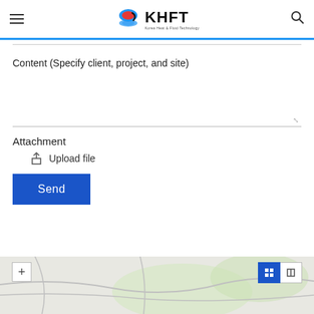KHFT Korea Heat & Fluid Technology
Content (Specify client, project, and site)
Attachment
Upload file
Send
[Figure (map): Map view with zoom and layer toggle controls]